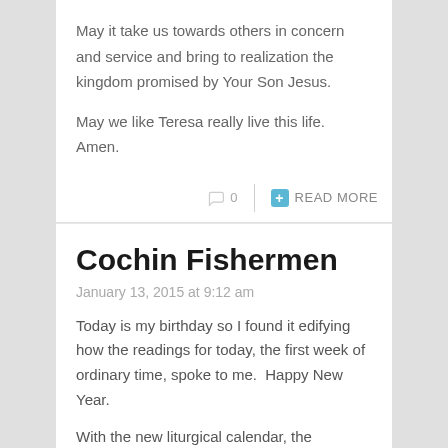May it take us towards others in concern and service and bring to realization the kingdom promised by Your Son Jesus.
May we like Teresa really live this life.  Amen.
0
READ MORE
Cochin Fishermen
January 13, 2015 at 9:12 am
Today is my birthday so I found it edifying how the readings for today, the first week of ordinary time, spoke to me.  Happy New Year.
With the new liturgical calendar, the readings begin with